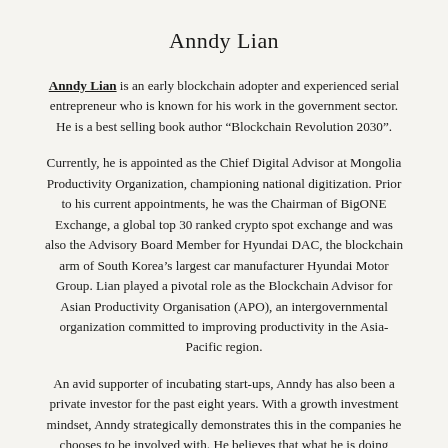Anndy Lian
Anndy Lian is an early blockchain adopter and experienced serial entrepreneur who is known for his work in the government sector. He is a best selling book author “Blockchain Revolution 2030”.
Currently, he is appointed as the Chief Digital Advisor at Mongolia Productivity Organization, championing national digitization. Prior to his current appointments, he was the Chairman of BigONE Exchange, a global top 30 ranked crypto spot exchange and was also the Advisory Board Member for Hyundai DAC, the blockchain arm of South Korea’s largest car manufacturer Hyundai Motor Group. Lian played a pivotal role as the Blockchain Advisor for Asian Productivity Organisation (APO), an intergovernmental organization committed to improving productivity in the Asia-Pacific region.
An avid supporter of incubating start-ups, Anndy has also been a private investor for the past eight years. With a growth investment mindset, Anndy strategically demonstrates this in the companies he chooses to be involved with. He believes that what he is doing through blockchain technology currently will revolutionise and